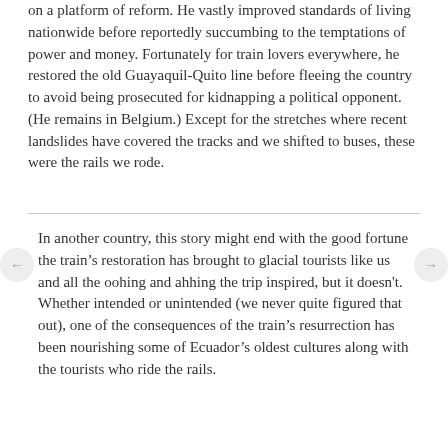on a platform of reform. He vastly improved standards of living nationwide before reportedly succumbing to the temptations of power and money. Fortunately for train lovers everywhere, he restored the old Guayaquil-Quito line before fleeing the country to avoid being prosecuted for kidnapping a political opponent. (He remains in Belgium.) Except for the stretches where recent landslides have covered the tracks and we shifted to buses, these were the rails we rode.
In another country, this story might end with the good fortune the train's restoration has brought to glacial tourists like us and all the oohing and ahhing the trip inspired, but it doesn't. Whether intended or unintended (we never quite figured that out), one of the consequences of the train's resurrection has been nourishing some of Ecuador's oldest cultures along with the tourists who ride the rails.